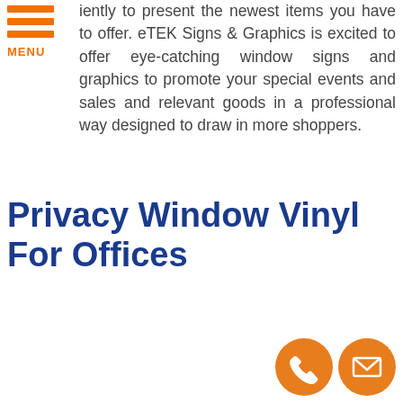MENU
iently to present the newest items you have to offer. eTEK Signs & Graphics is excited to offer eye-catching window signs and graphics to promote your special events and sales and relevant goods in a professional way designed to draw in more shoppers.
Privacy Window Vinyl For Offices
[Figure (infographic): Two orange circular contact icons: a phone handset icon and an envelope/email icon, positioned at the bottom right of the page.]